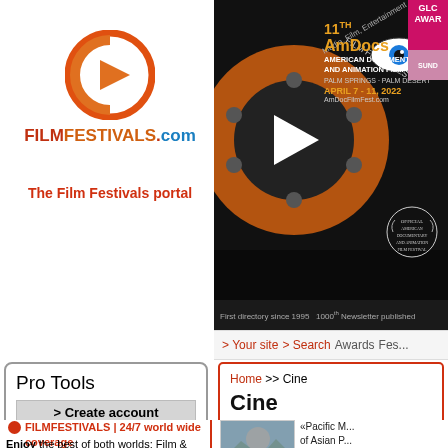[Figure (logo): FilmFestivals.com logo with orange/red play button circle icon and colorful text]
The Film Festivals portal
[Figure (photo): Advertisement banner for 11th AmDocs American Documentary and Animation Film Festival, April 7-11 2022, Palm Springs - Palm Desert. AmDocFilmFest.com. First directory since 1995 1000th Newsletter published]
> Your site  > Search  Awards  Fes...
Pro Tools
> Create account
•Register a festival or a film
•Submit film to festivals Promote for free or with Promo Packages
FILMFESTIVALS | 24/7 world wide coverage
Welcome !
Enjoy the best of both worlds: Film & Festival News, exploring the best
Home >> Cine
Cine
Vladivostok Pacific Meridia...
[Figure (photo): Portrait photo of a person outdoors with watermark filmfestivals.com]
«Pacific M... of Asian P... are the co... countries... Festival is beautiful... Vladivost... and its 9th edition has been held thi...